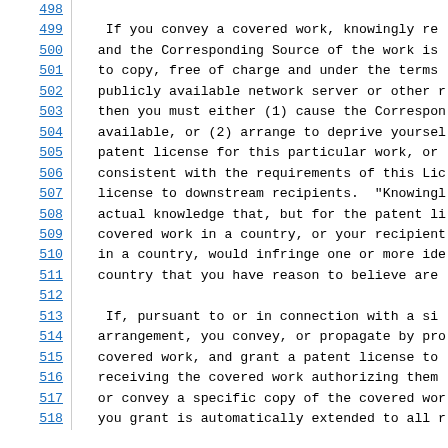498
499    If you convey a covered work, knowingly re
500   and the Corresponding Source of the work is
501   to copy, free of charge and under the terms
502   publicly available network server or other r
503   then you must either (1) cause the Correspon
504   available, or (2) arrange to deprive yoursel
505   patent license for this particular work, or
506   consistent with the requirements of this Lic
507   license to downstream recipients.  "Knowingl
508   actual knowledge that, but for the patent li
509   covered work in a country, or your recipient
510   in a country, would infringe one or more ide
511   country that you have reason to believe are
512
513    If, pursuant to or in connection with a si
514   arrangement, you convey, or propagate by pro
515   covered work, and grant a patent license to
516   receiving the covered work authorizing them
517   or convey a specific copy of the covered wor
518   you grant is automatically extended to all r